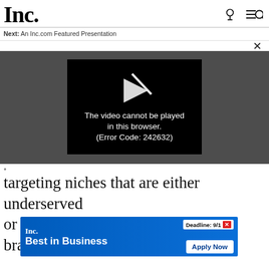Inc.
Next: An Inc.com Featured Presentation
[Figure (screenshot): Video player showing error message: The video cannot be played in this browser. (Error Code: 242632)]
targeting niches that are either underserved or n... fashion bran... to
[Figure (infographic): Inc. Best in Business advertisement banner with 'Deadline: 9/1' and 'Apply Now' button]